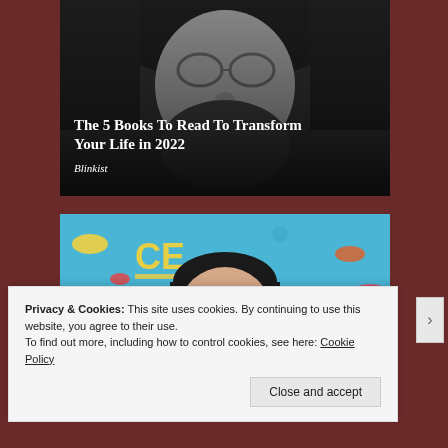[Figure (photo): Black and white close-up photo of a person with round glasses and long hair, with white text overlay showing article title and source 'Blinkist']
The 5 Books To Read To Transform Your Life in 2022
Blinkist
[Figure (photo): Color photo of a woman with dark hair and bangs smiling, against a colorful blue background with 'CE' text and decorative elements visible]
Privacy & Cookies: This site uses cookies. By continuing to use this website, you agree to their use.
To find out more, including how to control cookies, see here: Cookie Policy
Close and accept